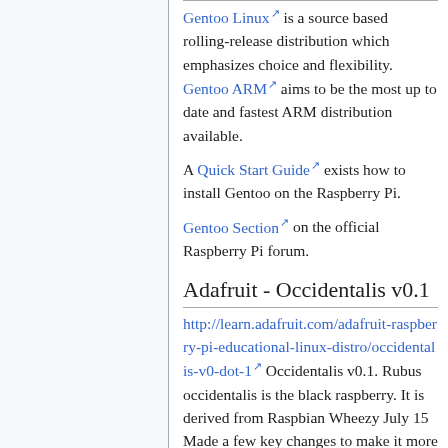Gentoo Linux is a source based rolling-release distribution which emphasizes choice and flexibility. Gentoo ARM aims to be the most up to date and fastest ARM distribution available.
A Quick Start Guide exists how to install Gentoo on the Raspberry Pi.
Gentoo Section on the official Raspberry Pi forum.
Adafruit - Occidentalis v0.1
http://learn.adafruit.com/adafruit-raspberry-pi-educational-linux-distro/occidentalis-v0-dot-1 Occidentalis v0.1. Rubus occidentalis is the black raspberry. It is derived from Raspbian Wheezy July 15 Made a few key changes to make it more hardware...